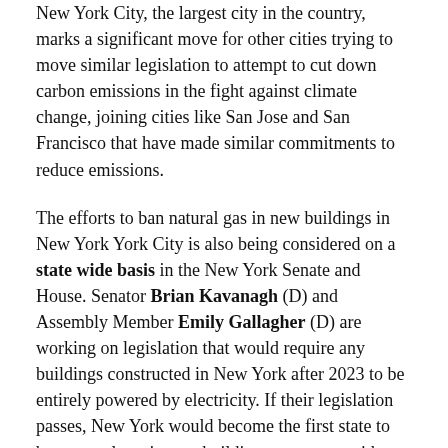New York City, the largest city in the country, marks a significant move for other cities trying to move similar legislation to attempt to cut down carbon emissions in the fight against climate change, joining cities like San Jose and San Francisco that have made similar commitments to reduce emissions.
The efforts to ban natural gas in new buildings in New York City is also being considered on a state wide basis in the New York Senate and House. Senator Brian Kavanagh (D) and Assembly Member Emily Gallagher (D) are working on legislation that would require any buildings constructed in New York after 2023 to be entirely powered by electricity. If their legislation passes, New York would become the first state to ban natural gas in new buildings on a state-wide level.
Triple Bottom Line – By passing this type of natural gas ban in buildings for new buildings...